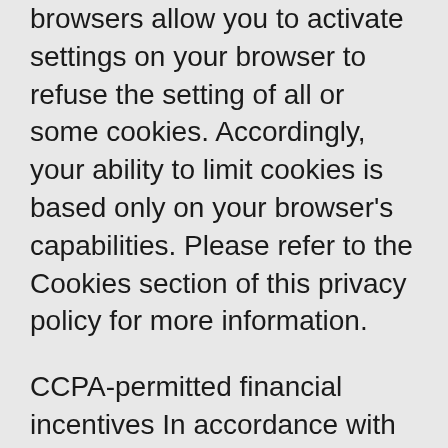browsers allow you to activate settings on your browser to refuse the setting of all or some cookies. Accordingly, your ability to limit cookies is based only on your browser's capabilities. Please refer to the Cookies section of this privacy policy for more information.
CCPA-permitted financial incentives In accordance with your right to non-discrimination, we may offer you certain financial incentives permitted by the CCPA that can result in different prices, rates, or quality levels for the goods or services we provide.
Any CCPA-permitted financial